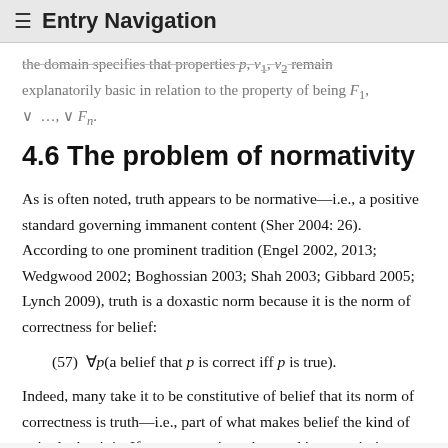≡ Entry Navigation
the domain specifies that properties p, v1, v2 remain explanatorily basic in relation to the property of being F1, ∨ …, ∨ Fn.
4.6 The problem of normativity
As is often noted, truth appears to be normative—i.e., a positive standard governing immanent content (Sher 2004: 26). According to one prominent tradition (Engel 2002, 2013; Wedgwood 2002; Boghossian 2003; Shah 2003; Gibbard 2005; Lynch 2009), truth is a doxastic norm because it is the norm of correctness for belief:
Indeed, many take it to be constitutive of belief that its norm of correctness is truth—i.e., part of what makes belief the kind of attitude that it is. If correctness is understood in prescriptive—rather than descriptive—terms, then (57) presumably gives way to the following schema: